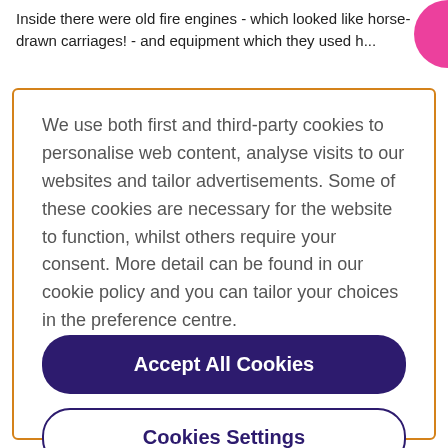Inside there were old fire engines - which looked like horse-drawn carriages! - and equipment which they used h...
We use both first and third-party cookies to personalise web content, analyse visits to our websites and tailor advertisements. Some of these cookies are necessary for the website to function, whilst others require your consent. More detail can be found in our cookie policy and you can tailor your choices in the preference centre.
Accept All Cookies
Cookies Settings